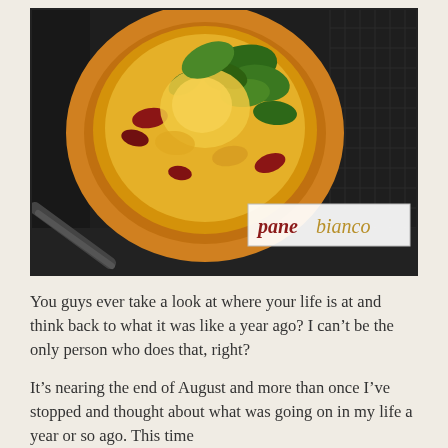[Figure (photo): A round baked pizza or bread topped with greens, red tomatoes, and melted cheese, on a dark baking tray. A logo overlay in the bottom right reads 'pane bianco' in italic serif text — 'pane' in dark red and 'bianco' in golden/ochre color, on a white background.]
You guys ever take a look at where your life is at and think back to what it was like a year ago? I can't be the only person who does that, right?
It's nearing the end of August and more than once I've stopped and thought about what was going on in my life a year or so ago. This time